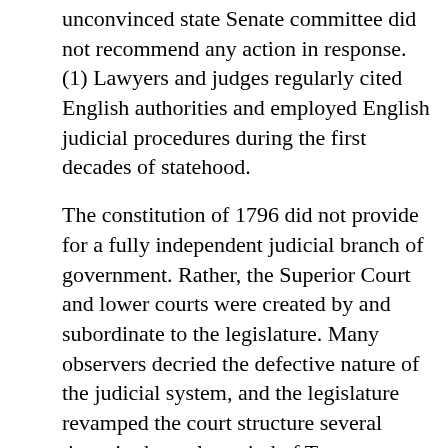unconvinced state Senate committee did not recommend any action in response. (1) Lawyers and judges regularly cited English authorities and employed English judicial procedures during the first decades of statehood.
The constitution of 1796 did not provide for a fully independent judicial branch of government. Rather, the Superior Court and lower courts were created by and subordinate to the legislature. Many observers decried the defective nature of the judicial system, and the legislature revamped the court structure several times in the early period of Tennessee history. Most of the cases heard by the courts involved private law disputes between individuals. All lawsuits were brought in the style of one of the common-law forms of action, such as trespass on the case, covenant, and ejectment. The bulk of the litigation concerned collection of debts,